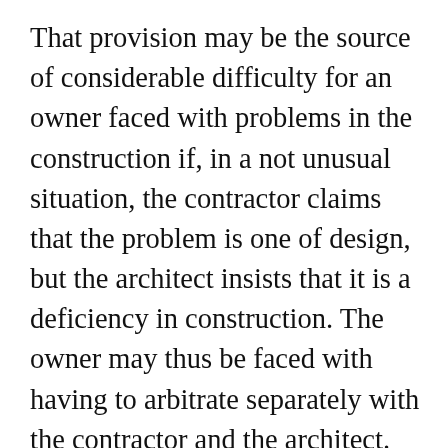That provision may be the source of considerable difficulty for an owner faced with problems in the construction if, in a not unusual situation, the contractor claims that the problem is one of design, but the architect insists that it is a deficiency in construction. The owner may thus be faced with having to arbitrate separately with the contractor and the architect. In separate arbitrations it is possible that the arbitrators in the owner-contractor arbitration may